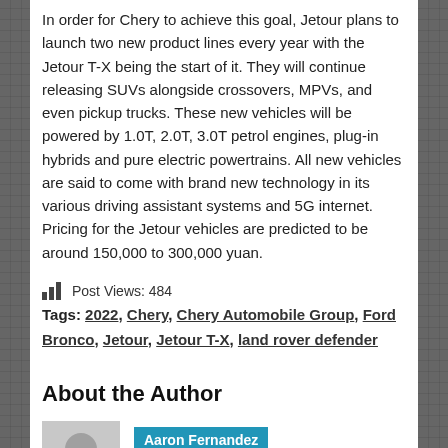In order for Chery to achieve this goal, Jetour plans to launch two new product lines every year with the Jetour T-X being the start of it. They will continue releasing SUVs alongside crossovers, MPVs, and even pickup trucks. These new vehicles will be powered by 1.0T, 2.0T, 3.0T petrol engines, plug-in hybrids and pure electric powertrains. All new vehicles are said to come with brand new technology in its various driving assistant systems and 5G internet. Pricing for the Jetour vehicles are predicted to be around 150,000 to 300,000 yuan.
Post Views: 484
Tags: 2022, Chery, Chery Automobile Group, Ford Bronco, Jetour, Jetour T-X, land rover defender
About the Author
[Figure (photo): Gray placeholder avatar icon showing a silhouette of a person (head and shoulders) on a gray background]
Aaron Fernandez